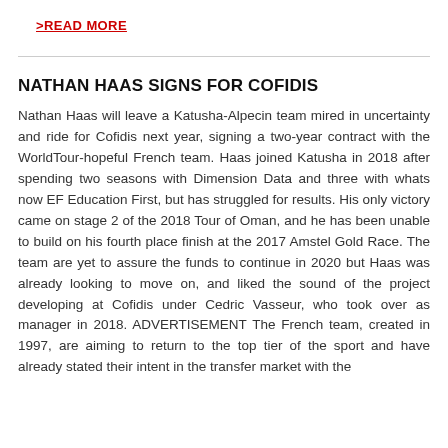>READ MORE
NATHAN HAAS SIGNS FOR COFIDIS
Nathan Haas will leave a Katusha-Alpecin team mired in uncertainty and ride for Cofidis next year, signing a two-year contract with the WorldTour-hopeful French team. Haas joined Katusha in 2018 after spending two seasons with Dimension Data and three with whats now EF Education First, but has struggled for results. His only victory came on stage 2 of the 2018 Tour of Oman, and he has been unable to build on his fourth place finish at the 2017 Amstel Gold Race. The team are yet to assure the funds to continue in 2020 but Haas was already looking to move on, and liked the sound of the project developing at Cofidis under Cedric Vasseur, who took over as manager in 2018. ADVERTISEMENT The French team, created in 1997, are aiming to return to the top tier of the sport and have already stated their intent in the transfer market with the